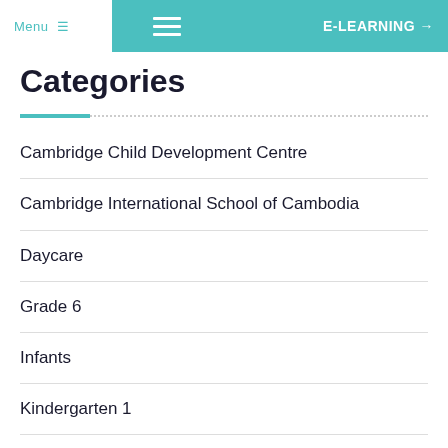Menu  E-LEARNING →
Categories
Cambridge Child Development Centre
Cambridge International School of Cambodia
Daycare
Grade 6
Infants
Kindergarten 1
Kindergarten 2
Nursery 1